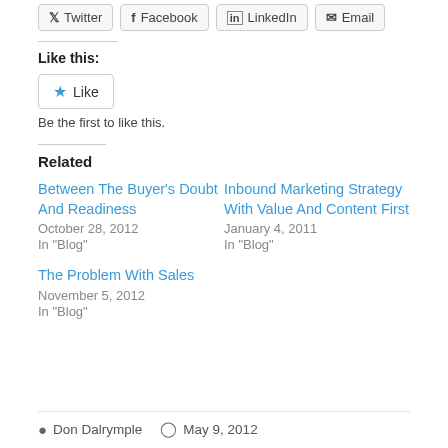Twitter | Facebook | LinkedIn | Email
Like this:
Like
Be the first to like this.
Related
Between The Buyer's Doubt And Readiness
October 28, 2012
In "Blog"
Inbound Marketing Strategy With Value And Content First
January 4, 2011
In "Blog"
The Problem With Sales
November 5, 2012
In "Blog"
Don Dalrymple  May 9, 2012